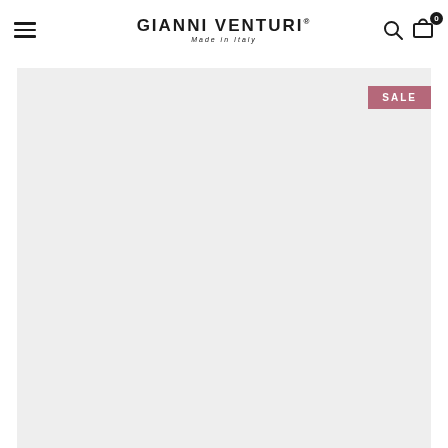Gianni Venturi® Made in Italy — navigation header with hamburger menu, logo, search icon, and cart (0)
[Figure (photo): Large light gray product image area placeholder with a SALE badge in dusty rose/mauve color in the upper right corner]